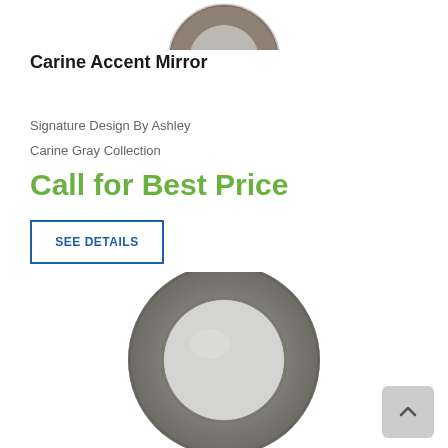[Figure (photo): Partial top view of a round Carine Accent Mirror with dark brownish-gray textured frame, cropped at top of page]
Carine Accent Mirror
Signature Design By Ashley
Carine Gray Collection
Call for Best Price
SEE DETAILS
[Figure (photo): Round accent mirror with wide textured dark gray/silver frame and round reflective center, shown from front]
[Figure (other): Scroll-to-top button with upward chevron arrow, gray rounded rectangle]